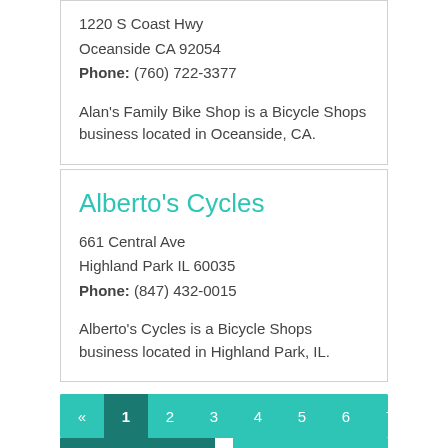1220 S Coast Hwy
Oceanside CA 92054
Phone: (760) 722-3377
Alan's Family Bike Shop is a Bicycle Shops business located in Oceanside, CA.
Alberto's Cycles
661 Central Ave
Highland Park IL 60035
Phone: (847) 432-0015
Alberto's Cycles is a Bicycle Shops business located in Highland Park, IL.
« 1 2 3 4 5 6 7 8